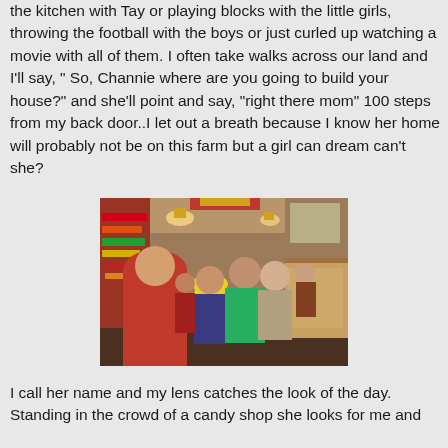the kitchen with Tay or playing blocks with the little girls, throwing the football with the boys or just curled up watching a movie with all of them. I often take walks across our land and I'll say, " So, Channie where are you going to build your house?" and she'll point and say, "right there mom" 100 steps from my back door..I let out a breath because I know her home will probably not be on this farm but a girl can dream can't she?
[Figure (photo): Indoor photo of people inside a candy shop or general store with decorations, pendant lights, and display cases. Several people visible including someone in a red hoodie, someone in a yellow hat, someone in a green jacket, and others browsing the shop.]
I call her name and my lens catches the look of the day. Standing in the crowd of a candy shop she looks for me and